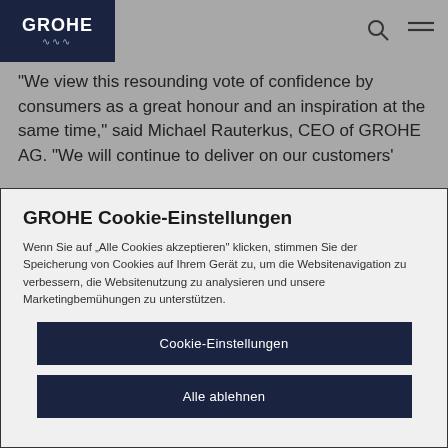[Figure (logo): GROHE logo in dark navy box with white text and wave lines below]
“We view this resounding vote of confidence by consumers as a great honour and an inspiration at the same time,” said Michael Rauterkus, CEO of GROHE AG. “We will continue to deliver on our customers’
GROHE Cookie-Einstellungen
Wenn Sie auf „Alle Cookies akzeptieren“ klicken, stimmen Sie der Speicherung von Cookies auf Ihrem Gerät zu, um die Websitenavigation zu verbessern, die Websitenutzung zu analysieren und unsere Marketingbemühungen zu unterstützen.
Cookie-Einstellungen
Alle ablehnen